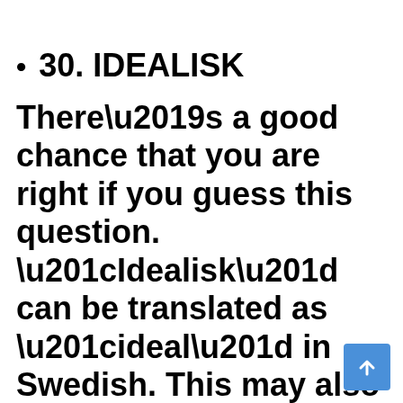30. IDEALISK
There’s a good chance that you are right if you guess this question. “Idealisk” can be translated as “ideal” in Swedish. This may also reflect polished, stainless-steel appliances.
[Figure (illustration): Blue scroll-to-top button with white upward arrow in bottom-right corner]